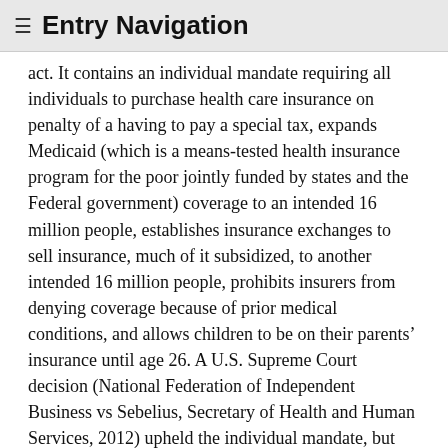≡ Entry Navigation
act. It contains an individual mandate requiring all individuals to purchase health care insurance on penalty of a having to pay a special tax, expands Medicaid (which is a means-tested health insurance program for the poor jointly funded by states and the Federal government) coverage to an intended 16 million people, establishes insurance exchanges to sell insurance, much of it subsidized, to another intended 16 million people, prohibits insurers from denying coverage because of prior medical conditions, and allows children to be on their parents' insurance until age 26. A U.S. Supreme Court decision (National Federation of Independent Business vs Sebelius, Secretary of Health and Human Services, 2012) upheld the individual mandate, but ruled that states had the prerogative to expand Medicaid and that such expansion could not be a requirement of the ACA. The failure to expand Medicaid in some states and their ongoing opposition to the ACA meant that the expansion of coverage did not reach the 32 million estimated. The increased coverage of the ACA never included the